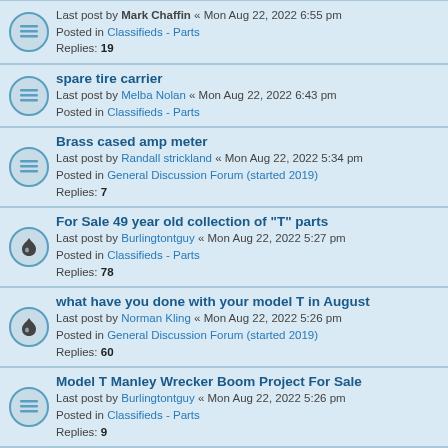Last post by Mark Chaffin « Mon Aug 22, 2022 6:55 pm
Posted in Classifieds - Parts
Replies: 19
spare tire carrier
Last post by Melba Nolan « Mon Aug 22, 2022 6:43 pm
Posted in Classifieds - Parts
Brass cased amp meter
Last post by Randall strickland « Mon Aug 22, 2022 5:34 pm
Posted in General Discussion Forum (started 2019)
Replies: 7
For Sale 49 year old collection of "T" parts
Last post by Burlingtontguy « Mon Aug 22, 2022 5:27 pm
Posted in Classifieds - Parts
Replies: 78
what have you done with your model T in August
Last post by Norman Kling « Mon Aug 22, 2022 5:26 pm
Posted in General Discussion Forum (started 2019)
Replies: 60
Model T Manley Wrecker Boom Project For Sale
Last post by Burlingtontguy « Mon Aug 22, 2022 5:26 pm
Posted in Classifieds - Parts
Replies: 9
Replacing top pads on 22 touring
Last post by Bobbbenner « Mon Aug 22, 2022 4:32 pm
Posted in General Discussion Forum (started 2019)
Replies: 7
AC brake linkage
Last post by Bobbbenner « Mon Aug 22, 2022 4:30 pm
Posted in General Discussion Forum (started 2019)